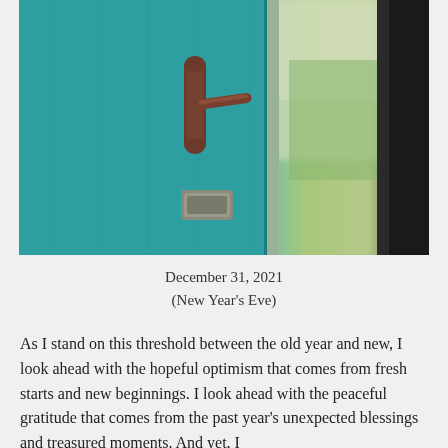[Figure (photo): A teal/turquoise wooden door partially open with a decorative bronze handle, showing a blurred green outdoor scene through the gap, with a dark door frame on the right side.]
December 31, 2021
(New Year's Eve)
As I stand on this threshold between the old year and new, I look ahead with the hopeful optimism that comes from fresh starts and new beginnings. I look ahead with the peaceful gratitude that comes from the past year's unexpected blessings and treasured moments. And yet, I